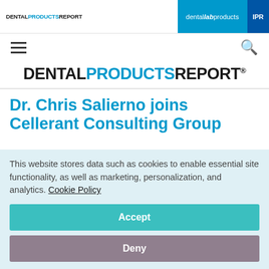DENTAL PRODUCTS REPORT | dental lab products | IPR
[Figure (logo): Dental Products Report main logo with DENTAL in black, PRODUCTS in blue, REPORT in black]
Dr. Chris Salierno joins Cellerant Consulting Group
This website stores data such as cookies to enable essential site functionality, as well as marketing, personalization, and analytics. Cookie Policy
Accept
Deny